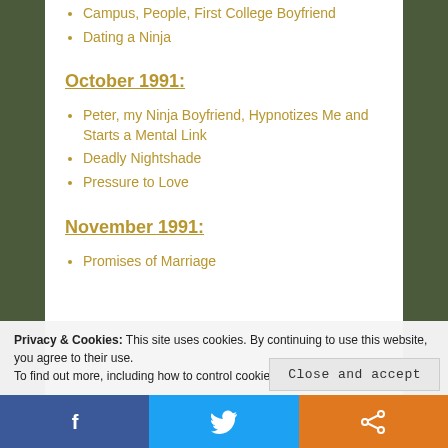Campus, People, First College Boyfriend
Dating a Ninja
October 1991:
Peter, my Ninja Boyfriend, Hypnotizes Me and Starts a Mental Link
Deadly Nightshade
Pressure to Love
November 1991:
Promises of Marriage
Privacy & Cookies: This site uses cookies. By continuing to use this website, you agree to their use. To find out more, including how to control cookies, see here: Cookie Policy
Close and accept